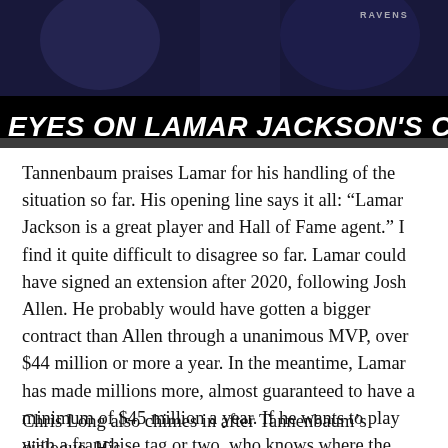[Figure (photo): Dark banner image with Ravens branding and players in background, overlaid with large bold italic white text on black bar reading 'EYES ON LAMAR JACKSON'S CONTRACT']
Tannenbaum praises Lamar for his handling of the situation so far. His opening line says it all: “Lamar Jackson is a great player and Hall of Fame agent.” I find it quite difficult to disagree so far. Lamar could have signed an extension after 2020, following Josh Allen. He probably would have gotten a bigger contract than Allen through a unanimous MVP, over $44 million or more a year. In the meantime, Lamar has made millions more, almost guaranteed to have a minimum of $45 million a year. If he wants to play with a franchise tag or two, who knows where the market will be. $50 million a year for Lamar could be a steal for the Ravens when they finally get a real shot at discussing a contract with him.
Chris Long also chimes in after Tannenbaum’s dialogue. His